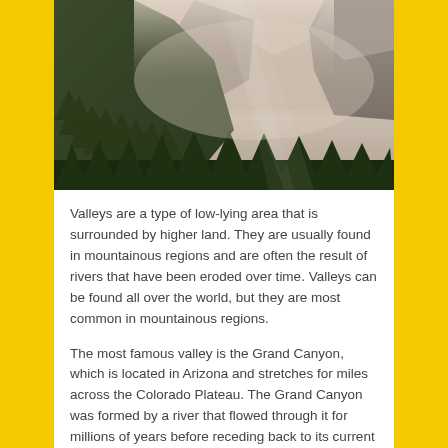[Figure (photo): A scenic valley landscape with steep forested mountain slopes on either side, towering granite cliffs in the background shrouded in mist, and a dense pine forest in the foreground. This appears to be Yosemite Valley.]
Valleys are a type of low-lying area that is surrounded by higher land. They are usually found in mountainous regions and are often the result of rivers that have been eroded over time. Valleys can be found all over the world, but they are most common in mountainous regions.
The most famous valley is the Grand Canyon, which is located in Arizona and stretches for miles across the Colorado Plateau. The Grand Canyon was formed by a river that flowed through it for millions of years before receding back to its current size. Other notable examples include Yosemite Valley, which is home to many waterfalls and natural attractions like El Capitan and Half Dome; the